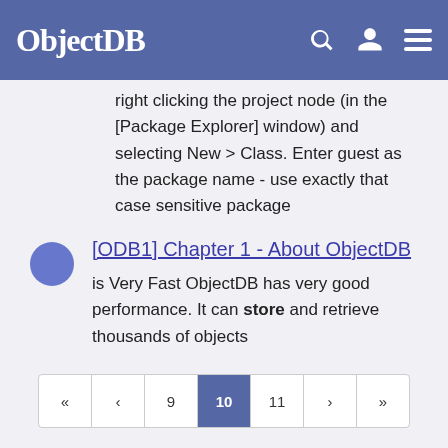ObjectDB
right clicking the project node (in the [Package Explorer] window) and selecting New > Class. Enter guest as the package name - use exactly that case sensitive package
[ODB1] Chapter 1 - About ObjectDB
is Very Fast ObjectDB has very good performance. It can store and retrieve thousands of objects